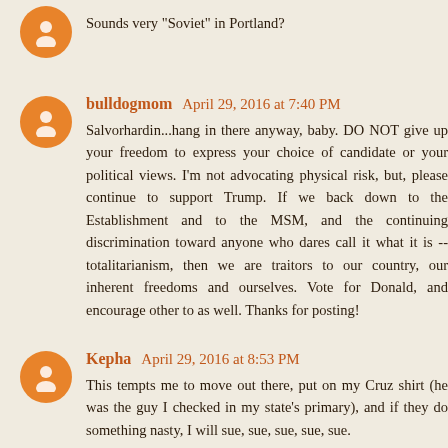Sounds very "Soviet" in Portland?
bulldogmom April 29, 2016 at 7:40 PM
Salvorhardin...hang in there anyway, baby. DO NOT give up your freedom to express your choice of candidate or your political views. I'm not advocating physical risk, but, please continue to support Trump. If we back down to the Establishment and to the MSM, and the continuing discrimination toward anyone who dares call it what it is -- totalitarianism, then we are traitors to our country, our inherent freedoms and ourselves. Vote for Donald, and encourage other to as well. Thanks for posting!
Kepha April 29, 2016 at 8:53 PM
This tempts me to move out there, put on my Cruz shirt (he was the guy I checked in my state's primary), and if they do something nasty, I will sue, sue, sue, sue, sue.